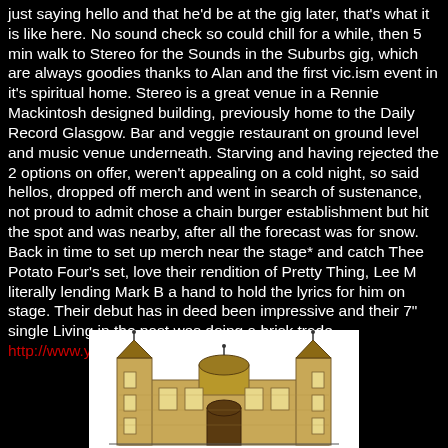just saying hello and that he'd be at the gig later, that's what it is like here. No sound check so could chill for a while, then 5 min walk to Stereo for the Sounds in the Suburbs gig, which are always goodies thanks to Alan and the first vic.ism event in it's spiritual home. Stereo is a great venue in a Rennie Mackintosh designed building, previously home to the Daily Record Glasgow. Bar and veggie restaurant on ground level and music venue underneath. Starving and having rejected the 2 options on offer, weren't appealing on a cold night, so said hellos, dropped off merch and went in search of sustenance, not proud to admit chose a chain burger establishment but hit the spot and was nearby, after all the forecast was for snow. Back in time to set up merch near the stage* and catch Thee Potato Four's set, love their rendition of Pretty Thing, Lee M literally lending Mark B a hand to hold the lyrics for him on stage. Their debut has in deed been impressive and their 7" single Living in the past was doing a brisk trade. http://www.youtube.com/watch?v=E5r_r4JdEYM
[Figure (illustration): Illustration of a stone building in a sketchy/artistic style, appears to be the Stereo venue in Glasgow, a Rennie Mackintosh designed building. White background with drawn building facade showing towers and architectural details.]